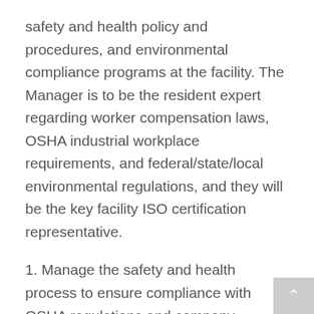safety and health policy and procedures, and environmental compliance programs at the facility. The Manager is to be the resident expert regarding worker compensation laws, OSHA industrial workplace requirements, and federal/state/local environmental regulations, and they will be the key facility ISO certification representative.
1. Manage the safety and health process to ensure compliance with OSHA regulations and company standards. Complete annual reviews of each program, including review and updates of plant procedures. Complete employee